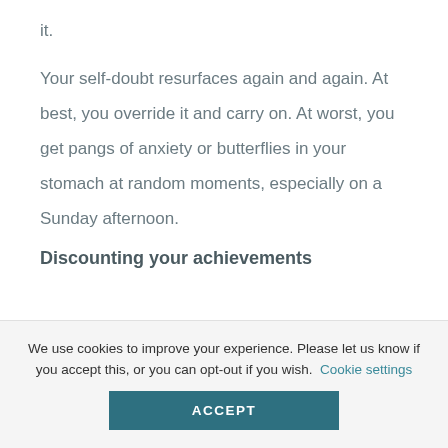it.
Your self-doubt resurfaces again and again. At best, you override it and carry on. At worst, you get pangs of anxiety or butterflies in your stomach at random moments, especially on a Sunday afternoon.
Discounting your achievements
We use cookies to improve your experience. Please let us know if you accept this, or you can opt-out if you wish.
Cookie settings
ACCEPT